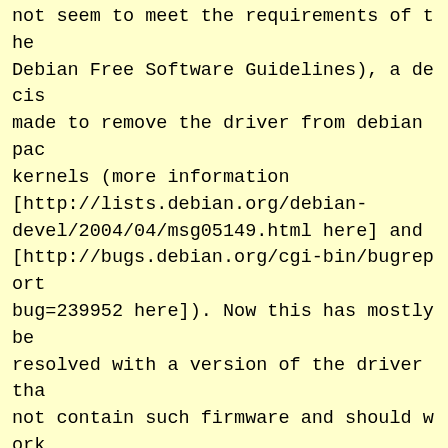not seem to meet the requirements of the Debian Free Software Guidelines), a decision was made to remove the driver from debian packaged kernels (more information [http://lists.debian.org/debian-devel/2004/04/msg05149.html here] and [http://bugs.debian.org/cgi-bin/bugreport.cgi?bug=239952 here]). Now this has mostly been resolved with a version of the driver that does not contain such firmware and should work with most cards. You should not have problems with the latest version of the installer.
----
'''Question 23''': There seems to be errors reading the CD!
'''Answer''': First of all, check that the [MD5] sum of the ISO file matches the d